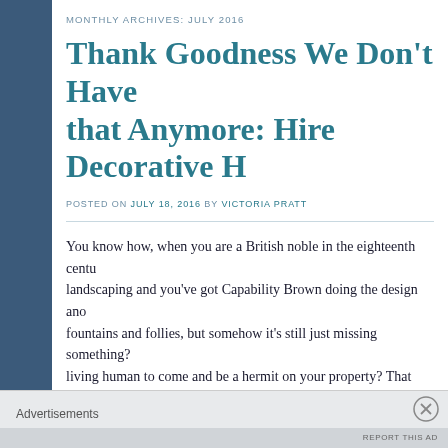MONTHLY ARCHIVES: JULY 2016
Thank Goodness We Don't Have that Anymore: Hire Decorative H
POSTED ON JULY 18, 2016 BY VICTORIA PRATT
You know how, when you are a British noble in the eighteenth centu­ landscaping and you've got Capability Brown doing the design ano fountains and follies, but somehow it's still just missing something? living human to come and be a hermit on your property? That wou
It sounds a bit nuts, but ornamental hermits were a fad among the n France for a while in the 1700 and 1800s!
Advertisements